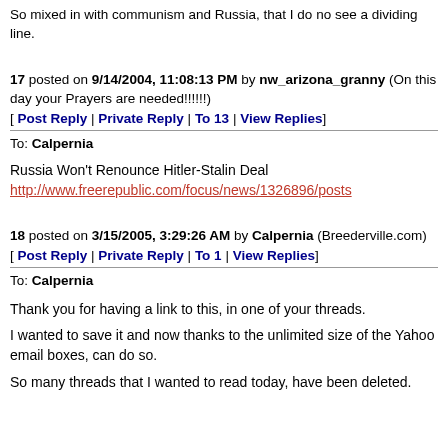So mixed in with communism and Russia, that I do no see a dividing line.
17 posted on 9/14/2004, 11:08:13 PM by nw_arizona_granny (On this day your Prayers are needed!!!!!!)
[ Post Reply | Private Reply | To 13 | View Replies]
To: Calpernia
Russia Won't Renounce Hitler-Stalin Deal
http://www.freerepublic.com/focus/news/1326896/posts
18 posted on 3/15/2005, 3:29:26 AM by Calpernia (Breederville.com)
[ Post Reply | Private Reply | To 1 | View Replies]
To: Calpernia
Thank you for having a link to this, in one of your threads.
I wanted to save it and now thanks to the unlimited size of the Yahoo email boxes, can do so.
So many threads that I wanted to read today, have been deleted.